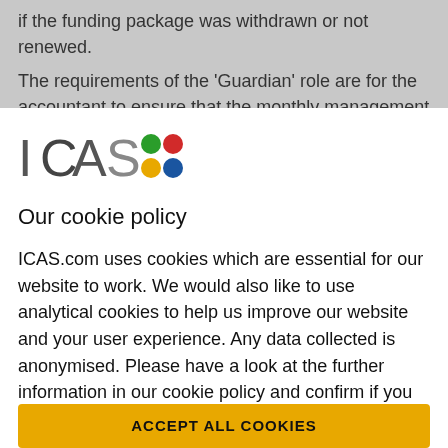if the funding package was withdrawn or not renewed. The requirements of the 'Guardian' role are for the accountant to ensure that the monthly management accounts are a fair representation of the company's
[Figure (logo): ICAS logo: the letters ICAS in dark grey with a 2x2 grid of colored dots (green, red top row; yellow, blue bottom row)]
Our cookie policy
ICAS.com uses cookies which are essential for our website to work. We would also like to use analytical cookies to help us improve our website and your user experience. Any data collected is anonymised. Please have a look at the further information in our cookie policy and confirm if you are happy for us to use analytical cookies:
ACCEPT ALL COOKIES